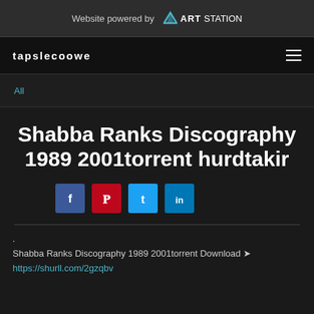Website powered by ARTSTATION
tapslecoowe
All
Shabba Ranks Discography 1989 2001torrent hurdtakir
[Figure (other): Social share buttons: Facebook, Pinterest, Twitter, LinkedIn]
.
Shabba Ranks Discography 1989 2001torrent Download ➫ https://shurll.com/2gzqbv